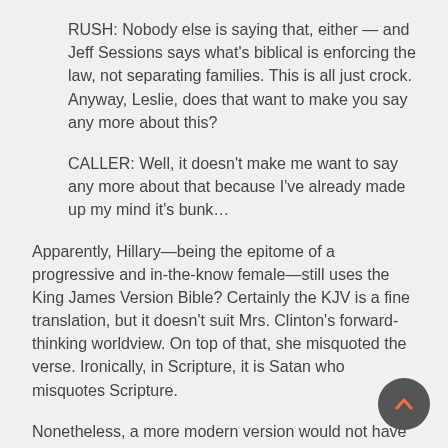RUSH: Nobody else is saying that, either — and Jeff Sessions says what's biblical is enforcing the law, not separating families. This is all just crock. Anyway, Leslie, does that want to make you say any more about this?
CALLER: Well, it doesn't make me want to say any more about that because I've already made up my mind it's bunk…
Apparently, Hillary—being the epitome of a progressive and in-the-know female—still uses the King James Version Bible? Certainly the KJV is a fine translation, but it doesn't suit Mrs. Clinton's forward-thinking worldview. On top of that, she misquoted the verse. Ironically, in Scripture, it is Satan who misquotes Scripture.
Nonetheless, a more modern version would not have had the rhetorical flare needed to conjure up the desired tear-jerking reaction among those who lack wokeness.
For instance, the one in whose presence all glass ceilings are safe, said "Jesus said, 'Suffer the little children unto me.' He did